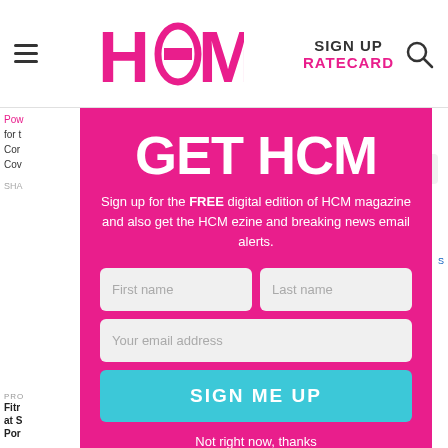HCM | SIGN UP | RATECARD
[Figure (screenshot): Background webpage content partially visible behind modal]
GET HCM
Sign up for the FREE digital edition of HCM magazine and also get the HCM ezine and breaking news email alerts.
[Figure (other): Sign-up form with First name, Last name, Your email address fields and SIGN ME UP button]
Not right now, thanks